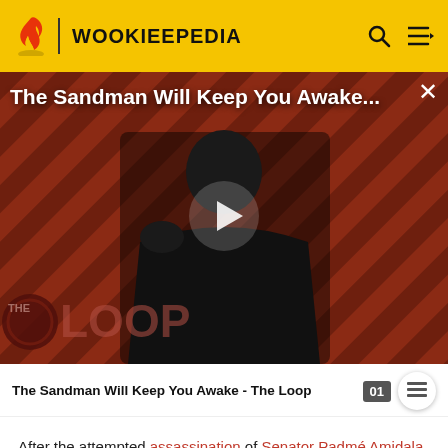WOOKIEEPEDIA
[Figure (screenshot): Video thumbnail for 'The Sandman Will Keep You Awake - The Loop' featuring a figure in black robes against a red and black diagonal striped background, with a play button in the center and 'THE LOOP' text at the bottom left, and an X close button at top right.]
The Sandman Will Keep You Awake - The Loop
After the attempted assassination of Senator Padmé Amidala put the Order on edge, the High Council received